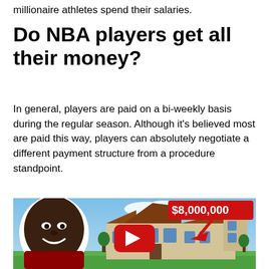millionaire athletes spend their salaries.
Do NBA players get all their money?
In general, players are paid on a bi-weekly basis during the regular season. Although it’s believed most are paid this way, players can absolutely negotiate a different payment structure from a procedure standpoint.
[Figure (screenshot): YouTube thumbnail showing an NBA player (Zion Williamson) smiling on the left with a white outline cutout, a large mansion in the background center-right, a red '$8,000,000' label in the top right, a red arrow pointing down-right, and a YouTube play button in the center.]